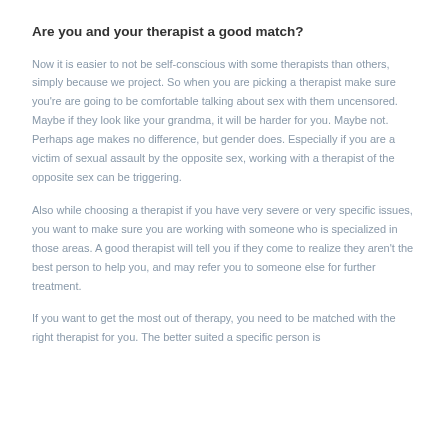Are you and your therapist a good match?
Now it is easier to not be self-conscious with some therapists than others, simply because we project. So when you are picking a therapist make sure you're are going to be comfortable talking about sex with them uncensored. Maybe if they look like your grandma, it will be harder for you. Maybe not. Perhaps age makes no difference, but gender does. Especially if you are a victim of sexual assault by the opposite sex, working with a therapist of the opposite sex can be triggering.
Also while choosing a therapist if you have very severe or very specific issues, you want to make sure you are working with someone who is specialized in those areas. A good therapist will tell you if they come to realize they aren't the best person to help you, and may refer you to someone else for further treatment.
If you want to get the most out of therapy, you need to be matched with the right therapist for you. The better suited a specific person is...